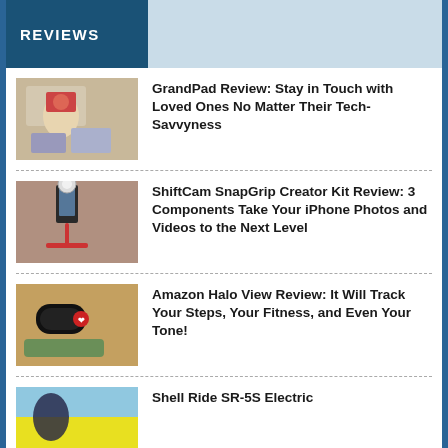REVIEWS
GrandPad Review: Stay in Touch with Loved Ones No Matter Their Tech-Savvyness
ShiftCam SnapGrip Creator Kit Review: 3 Components Take Your iPhone Photos and Videos to the Next Level
Amazon Halo View Review: It Will Track Your Steps, Your Fitness, and Even Your Tone!
Shell Ride SR-5S Electric